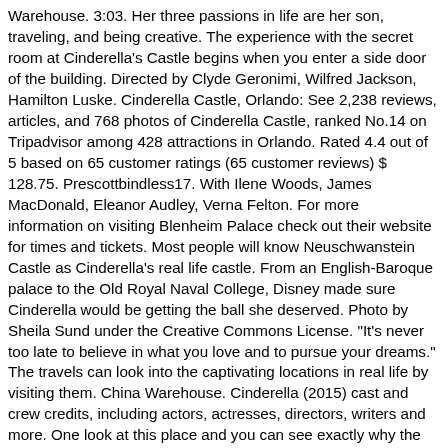Warehouse. 3:03. Her three passions in life are her son, traveling, and being creative. The experience with the secret room at Cinderella's Castle begins when you enter a side door of the building. Directed by Clyde Geronimi, Wilfred Jackson, Hamilton Luske. Cinderella Castle, Orlando: See 2,238 reviews, articles, and 768 photos of Cinderella Castle, ranked No.14 on Tripadvisor among 428 attractions in Orlando. Rated 4.4 out of 5 based on 65 customer ratings (65 customer reviews) $ 128.75. Prescottbindless17. With Ilene Woods, James MacDonald, Eleanor Audley, Verna Felton. For more information on visiting Blenheim Palace check out their website for times and tickets. Most people will know Neuschwanstein Castle as Cinderella's real life castle. From an English-Baroque palace to the Old Royal Naval College, Disney made sure Cinderella would be getting the ball she deserved. Photo by Sheila Sund under the Creative Commons License. "It's never too late to believe in what you love and to pursue your dreams." The travels can look into the captivating locations in real life by visiting them. China Warehouse. Cinderella (2015) cast and crew credits, including actors, actresses, directors, writers and more. One look at this place and you can see exactly why the filmmakers chose it to be 'the Palace'. If I can gather it are you thinking of the scene in which Ella meets Prince Charming? What did surprise me however, is the attention to detail Disney gave for one of the most classic fairy tales of all time. With Magic Kingdom's 50th-anniversary coming up, Disney World wanted its iconic centerpiece to look her.